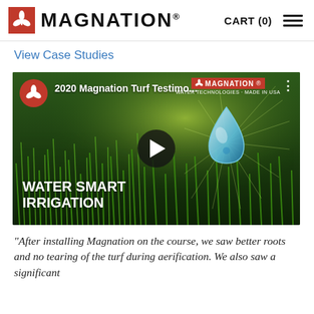MAGNATION  CART (0)
View Case Studies
[Figure (screenshot): YouTube video thumbnail for '2020 Magnation Turf Testimo...' showing lush green grass with water droplets, a water drop illustration with radiating light beams, and text 'WATER SMART IRRIGATION'. Has YouTube play button overlay and Magnation logo watermark.]
“After installing Magnation on the course, we saw better roots and no tearing of the turf during aerification. We also saw a significant